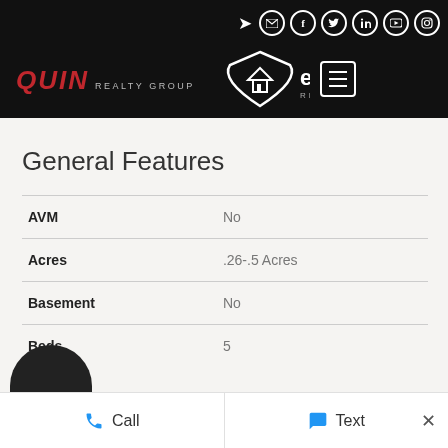QUIN REALTY GROUP | eXp Realty
General Features
| Feature | Value |
| --- | --- |
| AVM | No |
| Acres | .26-.5 Acres |
| Basement | No |
| Beds | 5 |
Call   Text